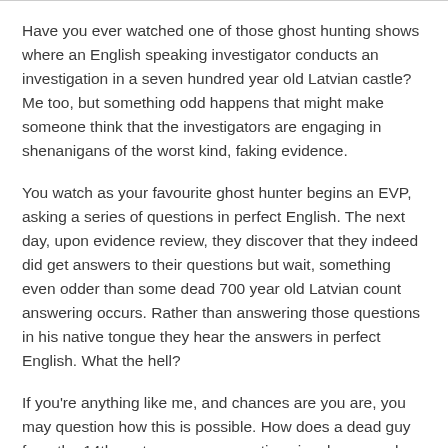Have you ever watched one of those ghost hunting shows where an English speaking investigator conducts an investigation in a seven hundred year old Latvian castle? Me too, but something odd happens that might make someone think that the investigators are engaging in shenanigans of the worst kind, faking evidence.
You watch as your favourite ghost hunter begins an EVP, asking a series of questions in perfect English. The next day, upon evidence review, they discover that they indeed did get answers to their questions but wait, something even odder than some dead 700 year old Latvian count answering occurs. Rather than answering those questions in his native tongue they hear the answers in perfect English. What the hell?
If you're anything like me, and chances are you are, you may question how this is possible. How does a dead guy from the 14th century answer questions in a language he would not be familiar with? A completely reasonable question. Could fakery be afoot?